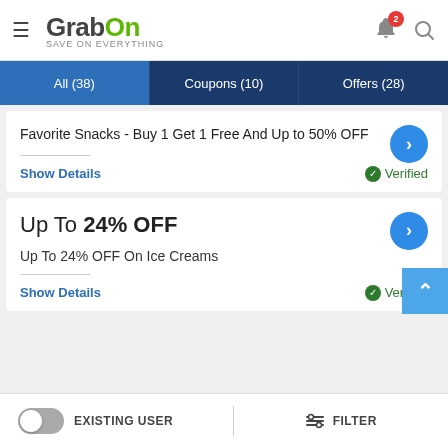[Figure (logo): GrabOn logo with tagline SAVE ON EVERYTHING]
GrabOn - SAVE ON EVERYTHING
All (38)
Coupons (10)
Offers (28)
Favorite Snacks - Buy 1 Get 1 Free And Up to 50% OFF
Show Details | Verified
Up To 24% OFF
Up To 24% OFF On Ice Creams
Show Details | Verified
EXISTING USER | FILTER